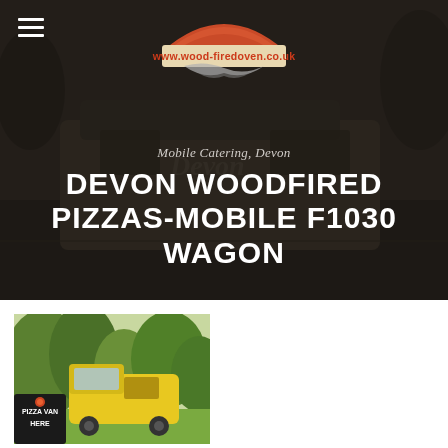[Figure (photo): Dark photographic background showing a large catering van/trailer in a car park, dark and moody atmosphere]
www.wood-firedoven.co.uk
Mobile Catering, Devon
DEVON WOODFIRED PIZZAS-MOBILE F1030 WAGON
[Figure (photo): Yellow pizza van parked in a green wooded area with a 'Pizza Van Here' chalkboard sign in the foreground]